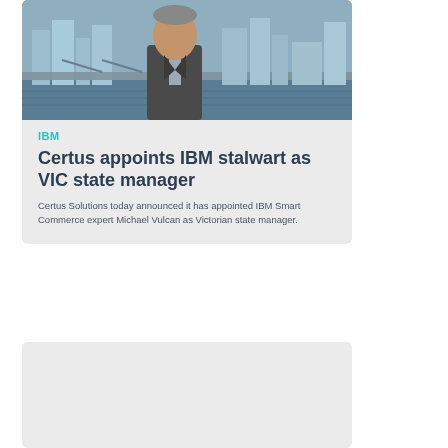[Figure (photo): Portrait photo of a man in a grey suit standing in front of a river with a bridge and city skyline in the background]
IBM
Certus appoints IBM stalwart as VIC state manager
Certus Solutions today announced it has appointed IBM Smart Commerce expert Michael Vulcan as Victorian state manager.
[Figure (photo): Partially visible card/image at bottom of page, content not visible]